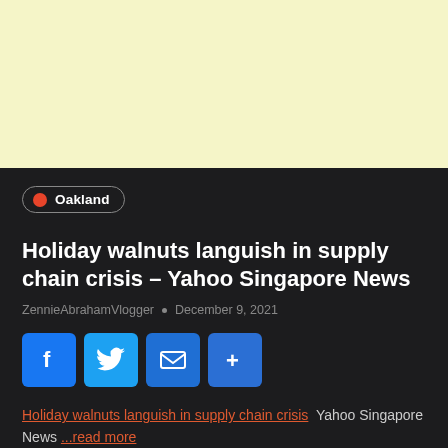[Figure (other): Light yellow advertisement banner placeholder at the top of the page]
Oakland
Holiday walnuts languish in supply chain crisis – Yahoo Singapore News
ZennieAbrahamVlogger · December 9, 2021
[Figure (infographic): Social share buttons: Facebook, Twitter, Email, More (+)]
Holiday walnuts languish in supply chain crisis  Yahoo Singapore News ...read more